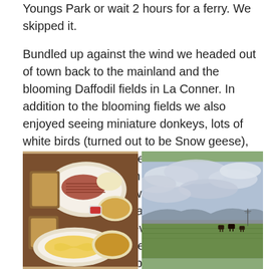Youngs Park or wait 2 hours for a ferry. We skipped it.

Bundled up against the wind we headed out of town back to the mainland and the blooming Daffodil fields in La Conner. In addition to the blooming fields we also enjoyed seeing miniature donkeys, lots of white birds (turned out to be Snow geese), and a field full of rogue daffodils growing randomly instead of in trained rows. The wind blowing us sideways whenever we travelled east/west really bothered me but, discussing it later, Steve said it was no big deal so any wind we felt after that I was much more relaxed about.
[Figure (photo): Photo of diner food plates on a wooden table — scrambled eggs, rye toast, sliced meat, and side dishes]
[Figure (photo): Photo of a flat agricultural field with green grass under a cloudy sky, cattle grazing in the distance near La Conner]